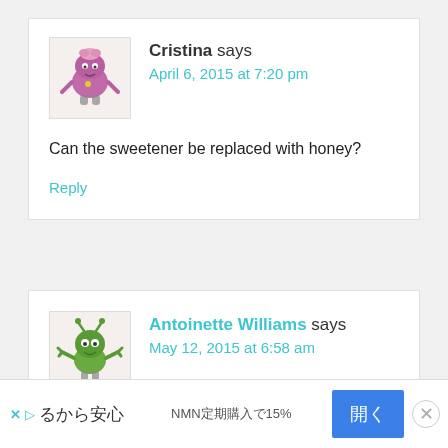Cristina says
April 6, 2015 at 7:20 pm
Can the sweetener be replaced with honey?
Reply
Antoinette Williams says
May 12, 2015 at 6:58 am
How much of these drinks do you drink?????????
[Figure (other): Advertisement banner: Japanese text 'るから安心', 'NMN定期購入で15%', blue open button '開く', close X button]